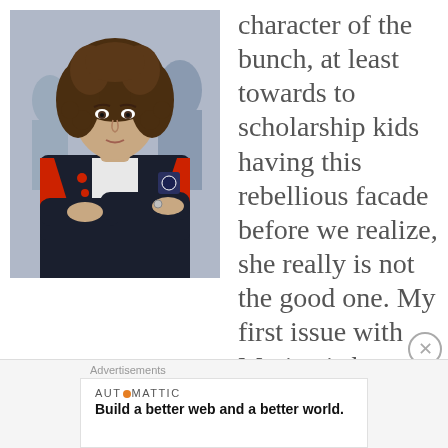[Figure (photo): Young woman with curly brown hair wearing a dark school blazer with red trim, arms crossed, looking at camera]
character of the bunch, at least towards to scholarship kids having this rebellious facade before we realize, she really is not the good one. My first issue with Marina is her relationship with Nano. She begins the school year with adopting Samuel, becoming his friend, inviting him to events with her before meeting his brother Nano. Now, Marina can't say she didn't know Samuel was into her because, well, it was pretty clear
Advertisements
[Figure (infographic): Automattic advertisement: 'Build a better web and a better world.']